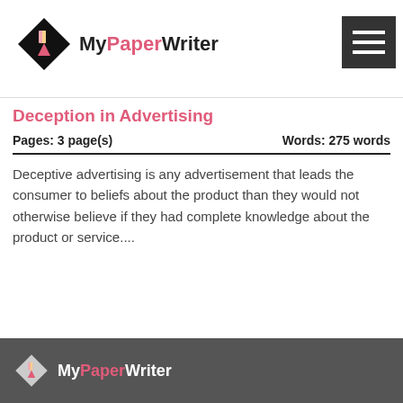Related Samples
Deception in Advertising
Pages: 3 page(s)    Words: 275 words
Deceptive advertising is any advertisement that leads the consumer to beliefs about the product than they would not otherwise believe if they had complete knowledge about the product or service....
[Figure (other): Pagination dots — 9 circles, first one dark/active, rest light gray]
MyPaperWriter